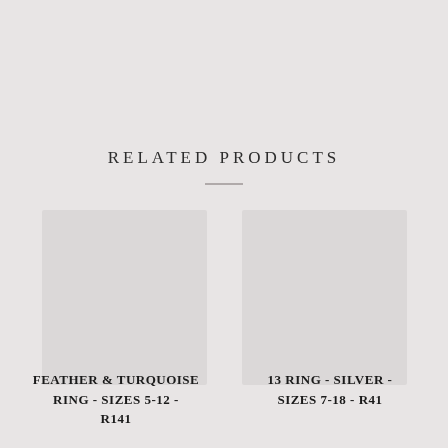RELATED PRODUCTS
[Figure (photo): Product image placeholder for Feather & Turquoise Ring]
[Figure (photo): Product image placeholder for 13 Ring - Silver]
FEATHER & TURQUOISE RING - SIZES 5-12 - R141
13 RING - SILVER - SIZES 7-18 - R41